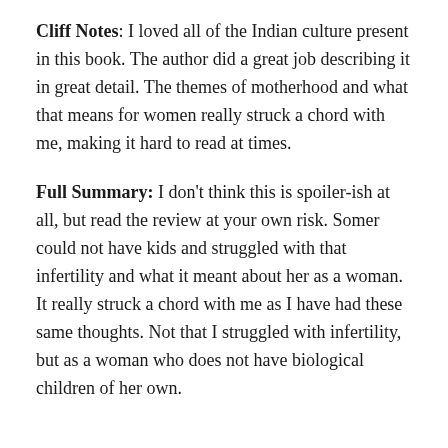Cliff Notes: I loved all of the Indian culture present in this book. The author did a great job describing it in great detail. The themes of motherhood and what that means for women really struck a chord with me, making it hard to read at times.
Full Summary: I don't think this is spoiler-ish at all, but read the review at your own risk. Somer could not have kids and struggled with that infertility and what it meant about her as a woman. It really struck a chord with me as I have had these same thoughts. Not that I struggled with infertility, but as a woman who does not have biological children of her own.